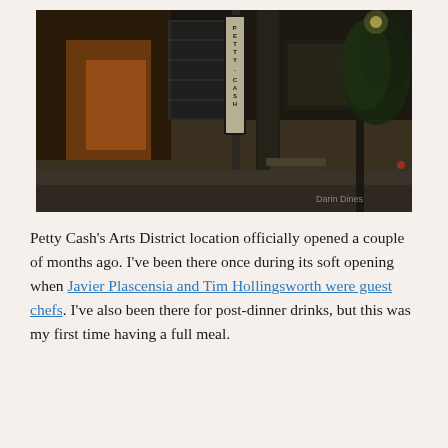[Figure (photo): Nighttime exterior photo of Petty Cash restaurant in the Arts District. A vertical illuminated sign reading 'PETTY CASH' is mounted on a pole. The building facade is visible with warm lighting on a brick wall to the left, steps leading to an entrance, and a tree on the right side of the sidewalk. A watermark in the lower right reads 'Darin Dines'.]
Petty Cash's Arts District location officially opened a couple of months ago. I've been there once during its soft opening when Javier Plascensia and Tim Hollingsworth were guest chefs. I've also been there for post-dinner drinks, but this was my first time having a full meal.